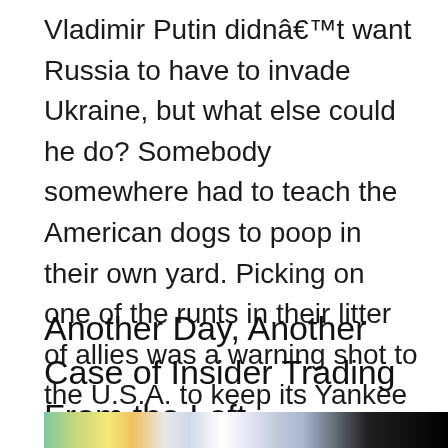Vladimir Putin didnât want Russia to have to invade Ukraine, but what else could he do? Somebody somewhere had to teach the American dogs to poop in their own yard. Picking on one of the runts in their litter of allies was a warning shot to the U.S.A. to keep its Yankee influences to itself. [â¦]
Another Day, Another Case of Insider Trading From the Left
[Figure (photo): Partial image strip visible at the bottom of the page showing colorful objects including what appears to be papers or cards, with dark/black area on the right side.]